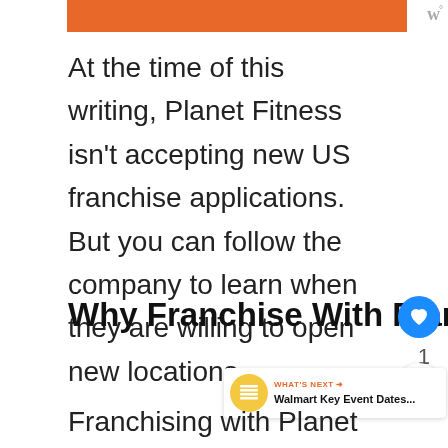At the time of this writing, Planet Fitness isn't accepting new US franchise applications. But you can follow the company to learn when they are willing to open new locations.
Why Franchise With Planet Fitness
Franchising with Planet Fitness is an